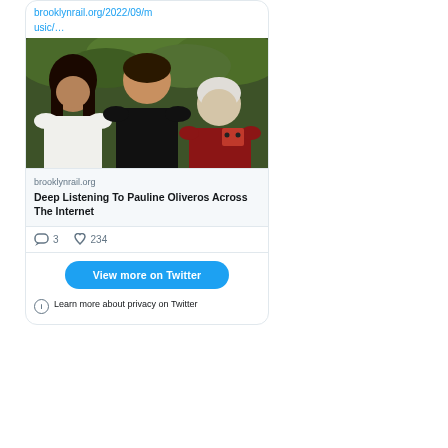brooklynrail.org/2022/09/music/…
[Figure (photo): Three people standing together outdoors in front of green foliage. One person on the left with long dark hair wearing a white shirt, one in the middle wearing a black t-shirt, and one shorter person on the right with white/grey hair wearing a red top.]
brooklynrail.org
Deep Listening To Pauline Oliveros Across The Internet
3
234
View more on Twitter
Learn more about privacy on Twitter